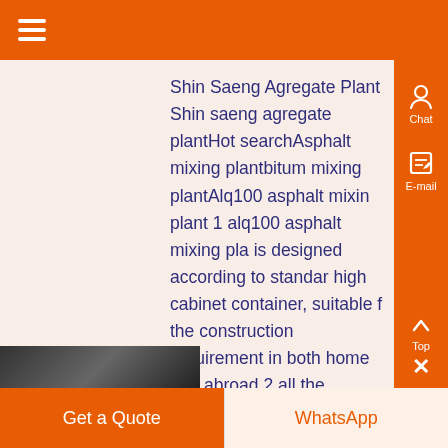Shin Saeng Agregate Plant Shin saeng agregate plantHot searchAsphalt mixing plantbitum mixing plantAlq100 asphalt mixing plant 1 alq100 asphalt mixing plant is designed according to standard high cabinet container, suitable for the construction requirement in both home and abroad 2 all the components of this asphalt mixing plant can put into the container ,
Get a Quote | WhatsApp